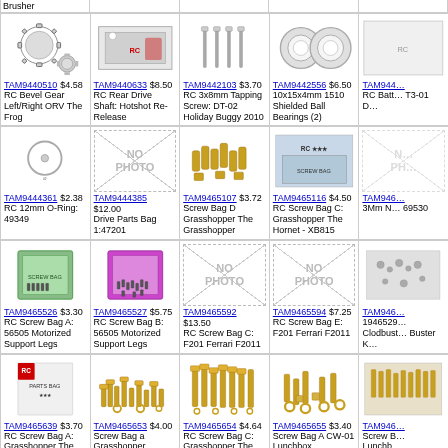| TAM9440510 $4.58 RC Bevel Gear Left/Right ORV The Frog | TAM9440633 $8.50 RC Rear Drive Shaft: Hotshot Re-Release | TAM9442103 $3.70 RC 3x8mm Tapping Screw: DT-02 Holiday Buggy 2010 | TAM9442556 $6.50 10x15x4mm 1510 Shielded Ball Bearings (2) | TAM944... RC Batt... T3-01 D... |
| TAM9444361 $2.38 RC 12mm O-Ring: 49349 | TAM9444385 $12.00 Drive Parts Bag 1:47201 | TAM9465107 $3.72 Screw Bag D Grasshopper The Grasshopper | TAM9465116 $4.50 RC Screw Bag C: Grasshopper The Hornet - XB815 | TAM946... 3Mm N... 69530 |
| TAM9465526 $3.30 RC Screw Bag A: 56505 Motorized Support Legs | TAM9465527 $5.75 RC Screw Bag B: 56505 Motorized Support Legs | TAM9465592 $13.50 RC Screw Bag C: F201 Ferrari F2011 | TAM9465594 $7.25 RC Screw Bag E: F201 Ferrari F2011 | TAM946... 1946529... Clodbust... Buster K... |
| TAM9465639 $3.70 RC Screw Bag A: Grasshopper The Hornet | TAM9465653 $4.00 Screw Bag a Grasshopper | TAM9465654 $4.64 RC Screw Bag C: Grasshopper The Grasshopper | TAM9465655 $3.40 Screw Bag A CW-01 Lunchbox | TAM946... Screw B... Lunchb... |